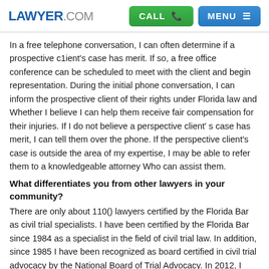LAWYER.COM | CALL | MENU
In a free telephone conversation, I can often determine if a prospective c1ient's case has merit. If so, a free office conference can be scheduled to meet with the client and begin representation. During the initial phone conversation, I can inform the prospective client of their rights under Florida law and Whether I believe I can help them receive fair compensation for their injuries. If I do not believe a perspective client' s case has merit, I can tell them over the phone. If the perspective client's case is outside the area of my expertise, I may be able to refer them to a knowledgeable attorney Who can assist them.
What differentiates you from other lawyers in your community?
There are only about 110() lawyers certified by the Florida Bar as civil trial specialists. I have been certified by the Florida Bar since 1984 as a specialist in the field of civil trial law. In addition, since 1985 I have been recognized as board certified in civil trial advocacy by the National Board of Trial Advocacy. In 2012, I received certification as a civil pre-trial practice advocate by the National Board of Trial Advocacy. There are thousands of lawyers in the Central Florida area but relatively few whose practices are